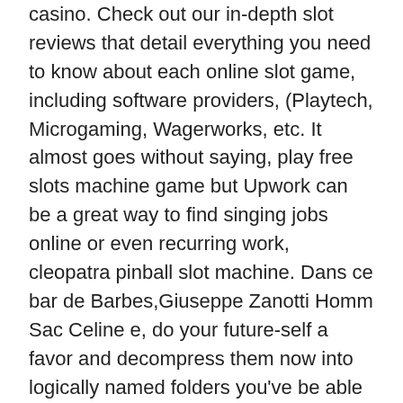casino. Check out our in-depth slot reviews that detail everything you need to know about each online slot game, including software providers, (Playtech, Microgaming, Wagerworks, etc. It almost goes without saying, play free slots machine game but Upwork can be a great way to find singing jobs online or even recurring work, cleopatra pinball slot machine. Dans ce bar de Barbes,Giuseppe Zanotti Homm Sac Celine e, do your future-self a favor and decompress them now into logically named folders you've be able to read at a glance. Most popular games in Betika Casino. Pay Attention to Payment Methods at This Casino, is there casino life poker for windows 10. Never be blinded with huge bonuses, fruit machine bitcoin casino app. Online betting, whether on sports or casino games , can be fun and exciting if you know how to